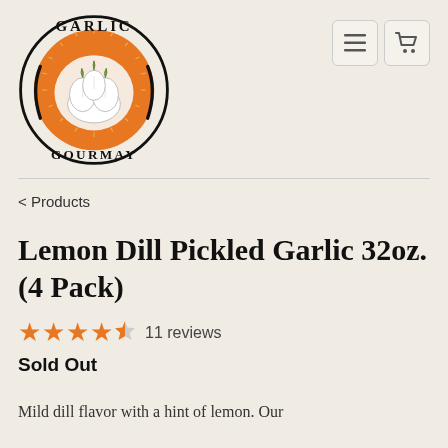[Figure (logo): Garlic Gourmay circular logo with garlic bulb illustration and orange/black sunburst design]
< Products
Lemon Dill Pickled Garlic 32oz. (4 Pack)
★★★★½ 11 reviews
Sold Out
Mild dill flavor with a hint of lemon. Our